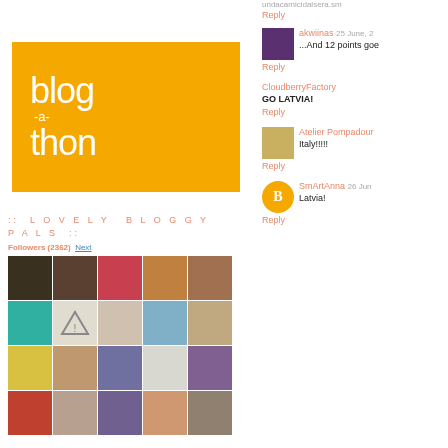[Figure (logo): Blog-a-thon logo: yellow/orange square with white text reading 'blog -a- thon']
:: LOVELY BLOGGY PALS ::
Followers (2362) Next
[Figure (photo): Grid of follower avatar thumbnails]
undacamicidalsera.sm
Reply
akwiinas 25 June, 2...
...And 12 points goe
Reply
CloudberryFactory
GO LATVIA!
Reply
Atelier Pompadour
Italy!!!!!
Reply
SmArtAnna 26 Jun
Latvia!
Reply